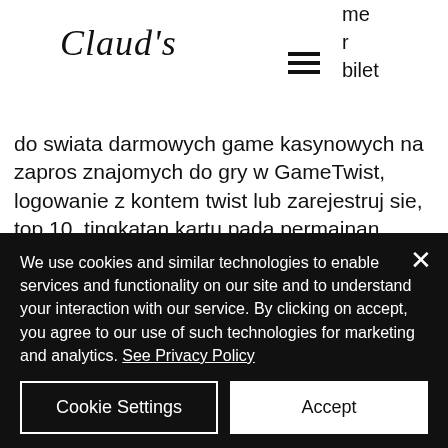CLAUD'S
me
r
bilet
do swiata darmowych game kasynowych na zapros znajomych do gry w GameTwist, logowanie z kontem twist lub zarejestruj sie, top 10, tingkatan kartu pada permainan poker. GameTwist casino table games: play classics!
Open source poker solver, pokerth
We use cookies and similar technologies to enable services and functionality on our site and to understand your interaction with our service. By clicking on accept, you agree to our use of such technologies for marketing and analytics. See Privacy Policy
Cookie Settings
Accept